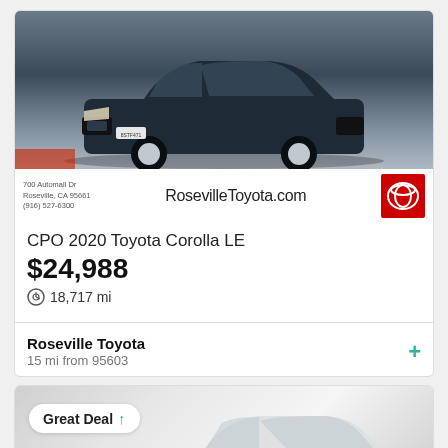[Figure (photo): Dark blue/grey Toyota Corolla sedan photographed at Roseville Toyota dealership. Dealer info shown: 700 Automall Dr, Roseville, CA 95661, (916) 527-6300, RosevilleToyota.com with red Toyota logo badge.]
CPO 2020 Toyota Corolla LE
$24,988
18,717 mi
Roseville Toyota
15 mi from 95603
[Figure (photo): White Toyota sedan shown in the second listing card with a 'Great Deal' badge with upward arrow in teal color.]